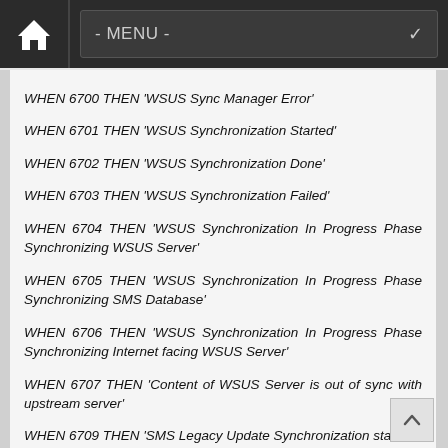- MENU -
WHEN 6700 THEN 'WSUS Sync Manager Error'
WHEN 6701 THEN 'WSUS Synchronization Started'
WHEN 6702 THEN 'WSUS Synchronization Done'
WHEN 6703 THEN 'WSUS Synchronization Failed'
WHEN 6704 THEN 'WSUS Synchronization In Progress Phase Synchronizing WSUS Server'
WHEN 6705 THEN 'WSUS Synchronization In Progress Phase Synchronizing SMS Database'
WHEN 6706 THEN 'WSUS Synchronization In Progress Phase Synchronizing Internet facing WSUS Server'
WHEN 6707 THEN 'Content of WSUS Server is out of sync with upstream server'
WHEN 6709 THEN 'SMS Legacy Update Synchronization started'
WHEN 6710 THEN 'SMS Legacy Update Synchronization done'